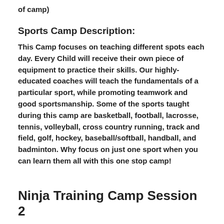of camp)
Sports Camp Description:
This Camp focuses on teaching different spots each day. Every Child will receive their own piece of equipment to practice their skills. Our highly-educated coaches will teach the fundamentals of a particular sport, while promoting teamwork and good sportsmanship. Some of the sports taught during this camp are basketball, football, lacrosse, tennis, volleyball, cross country running, track and field, golf, hockey, baseball/softball, handball, and badminton. Why focus on just one sport when you can learn them all with this one stop camp!
Ninja Training Camp Session 2